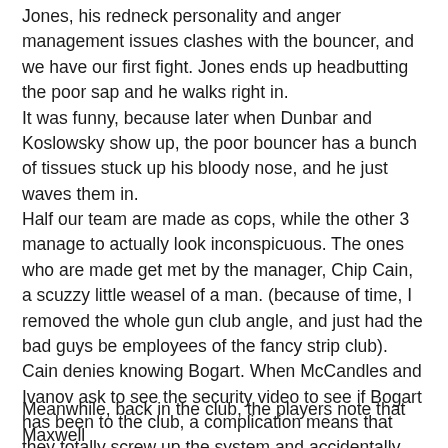Jones, his redneck personality and anger management issues clashes with the bouncer, and we have our first fight. Jones ends up headbutting the poor sap and he walks right in.
It was funny, because later when Dunbar and Koslowsky show up, the poor bouncer has a bunch of tissues stuck up his bloody nose, and he just waves them in.
Half our team are made as cops, while the other 3 manage to actually look inconspicuous. The ones who are made get met by the manager, Chip Cain, a scuzzy little weasel of a man. (because of time, I removed the whole gun club angle, and just had the bad guys be employees of the fancy strip club). Cain denies knowing Bogart. When McCandles and Ivanov ask to see the security video to see if Bogart has been to the club, a complication means that they totally screw up the system and accidentally delete the footage.
Meanwhile, back in the club, the players note that Maxwell...